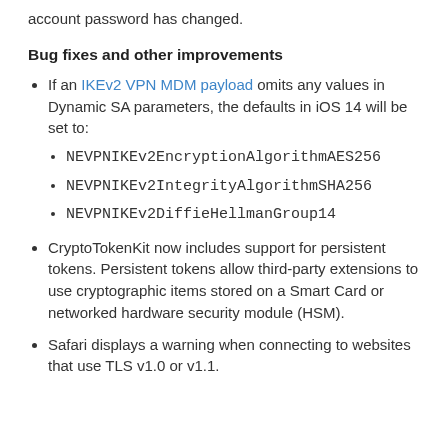account password has changed.
Bug fixes and other improvements
If an IKEv2 VPN MDM payload omits any values in Dynamic SA parameters, the defaults in iOS 14 will be set to: NEVPNIKEv2EncryptionAlgorithmAES256, NEVPNIKEv2IntegrityAlgorithmSHA256, NEVPNIKEv2DiffieHellmanGroup14
CryptoTokenKit now includes support for persistent tokens. Persistent tokens allow third-party extensions to use cryptographic items stored on a Smart Card or networked hardware security module (HSM).
Safari displays a warning when connecting to websites that use TLS v1.0 or v1.1.